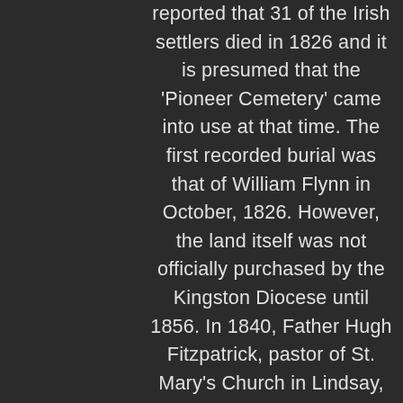reported that 31 of the Irish settlers died in 1826 and it is presumed that the 'Pioneer Cemetery' came into use at that time. The first recorded burial was that of William Flynn in October, 1826. However, the land itself was not officially purchased by the Kingston Diocese until 1856. In 1840, Father Hugh Fitzpatrick, pastor of St. Mary's Church in Lindsay, spearheaded the construction of a mission log church within the cemetery dedicated to St. Luke which served the faithful for sixteen years.